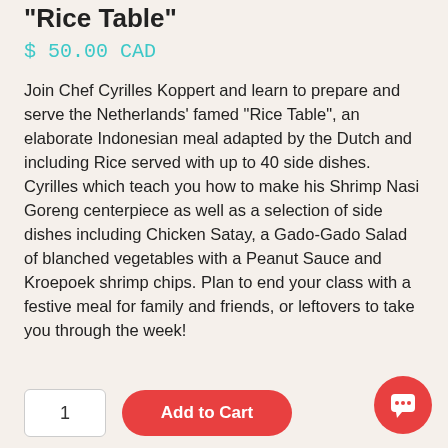"Rice Table"
$ 50.00 CAD
Join Chef Cyrilles Koppert and learn to prepare and serve the Netherlands' famed "Rice Table", an elaborate Indonesian meal adapted by the Dutch and including Rice served with up to 40 side dishes. Cyrilles which teach you how to make his Shrimp Nasi Goreng centerpiece as well as a selection of side dishes including Chicken Satay, a Gado-Gado Salad of blanched vegetables with a Peanut Sauce and Kroepoek shrimp chips. Plan to end your class with a festive meal for family and friends, or leftovers to take you through the week!